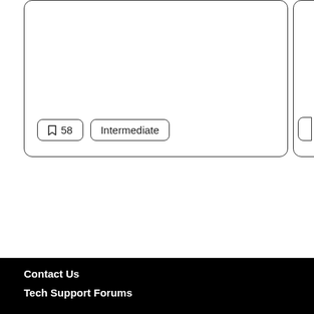[Figure (screenshot): Partial view of a course card UI showing bookmark count badge '58' and difficulty badge 'Intermediate', rendered as outlined pill/rounded-rectangle buttons. A second partial card is visible at the right edge.]
Contact Us
Tech Support Forums